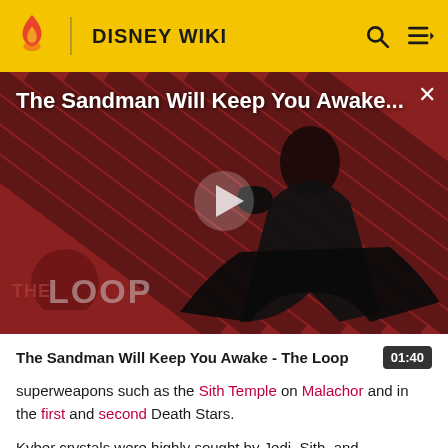DISNEY WIKI
[Figure (screenshot): Video thumbnail for 'The Sandman Will Keep You Awake - The Loop' showing a dark figure in black against a red diagonal-striped background, with THE LOOP logo in lower left and a play button overlay.]
The Sandman Will Keep You Awake - The Loop  01:40
superweapons such as the Sith Temple on Malachor and in the first and second Death Stars.
Kyber crystals were highly sought by Jedi, Sith, and